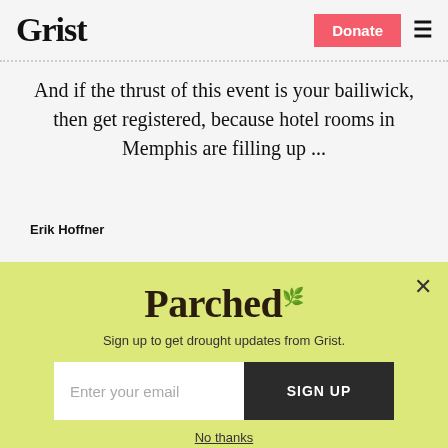Grist | Donate | Menu
And if the thrust of this event is your bailiwick, then get registered, because hotel rooms in Memphis are filling up ...
Erik Hoffner
Published    Mar 14, 2008
[Figure (screenshot): Parched modal popup with yellow-green background. Shows 'Parched' logo text, subtitle 'Sign up to get drought updates from Grist.', email input field with placeholder 'Enter your email', 'SIGN UP' button, and 'No thanks' link. Close button (X) in top right.]